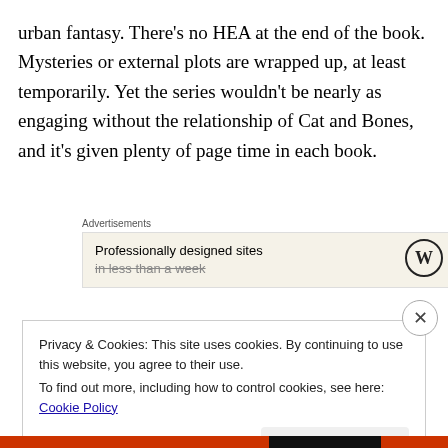urban fantasy. There's no HEA at the end of the book. Mysteries or external plots are wrapped up, at least temporarily. Yet the series wouldn't be nearly as engaging without the relationship of Cat and Bones, and it's given plenty of page time in each book.
Advertisements
[Figure (screenshot): Advertisement banner with text 'Professionally designed sites in less than a week' and WordPress logo on the right, on a beige/cream background.]
Privacy & Cookies: This site uses cookies. By continuing to use this website, you agree to their use.
To find out more, including how to control cookies, see here: Cookie Policy
Close and accept